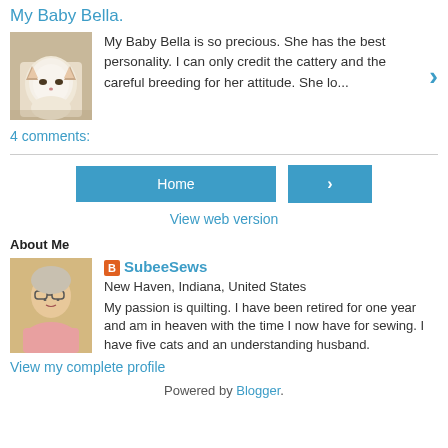My Baby Bella.
[Figure (photo): Small white/cream cat sitting, siamese-type markings]
My Baby Bella is so precious. She has the best personality. I can only credit the cattery and the careful breeding for her attitude. She lo...
4 comments:
Home
View web version
About Me
[Figure (photo): Woman with glasses and light hair, wearing pink, smiling]
SubeeSews
New Haven, Indiana, United States
My passion is quilting. I have been retired for one year and am in heaven with the time I now have for sewing. I have five cats and an understanding husband.
View my complete profile
Powered by Blogger.